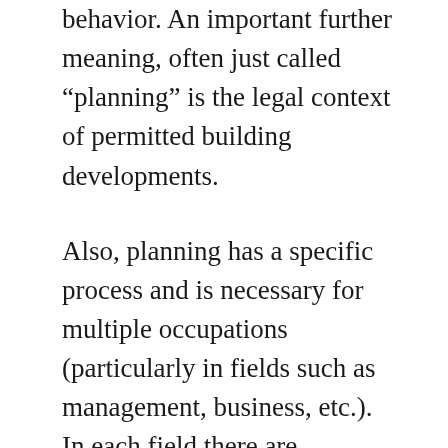behavior. An important further meaning, often just called “planning” is the legal context of permitted building developments.
Also, planning has a specific process and is necessary for multiple occupations (particularly in fields such as management, business, etc.). In each field there are different types of plans that help companies achieve efficiency and effectiveness. An important, albeit often ignored aspect of planning, is the relationship it holds to forecasting. Forecasting can be described as predicting what the future will look like,